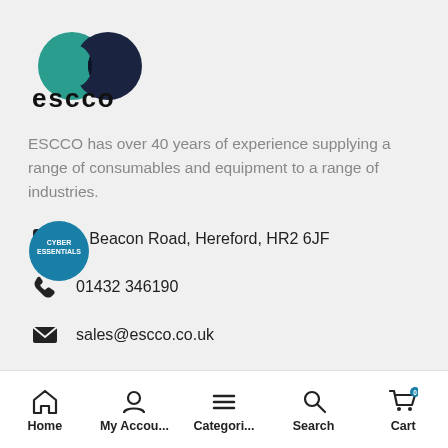[Figure (logo): ESCCO logo with two overlapping circles (teal and dark blue/black) and the word 'escco' in bold lowercase black text]
ESCCO has over 40 years of experience supplying a range of consumables and equipment to a range of industries.
1 Beacon Road, Hereford, HR2 6JF
01432 346190
sales@escco.co.uk
[Figure (logo): Cyber Essentials badge/logo, circular, teal/blue color]
Home | My Accou... | Categori... | Search | Cart